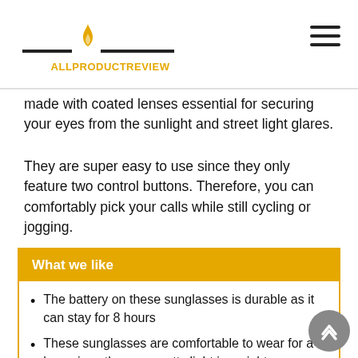ALLPRODUCTREVIEW
made with coated lenses essential for securing your eyes from the sunlight and street light glares.
They are super easy to use since they only feature two control buttons. Therefore, you can comfortably pick your calls while still cycling or jogging.
What we like
The battery on these sunglasses is durable as it can stay for 8 hours
These sunglasses are comfortable to wear for a long since they are pretty light in weight
The sunglasses come in varying designs just like like them.